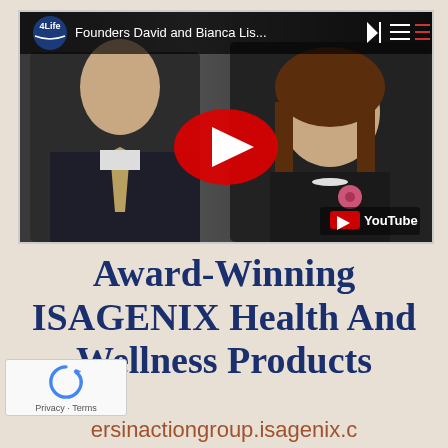[Figure (screenshot): YouTube video thumbnail showing two people (a man in a suit and a woman in black jacket) with a YouTube play button overlay. Top-left shows 4Life logo and title 'Founders David and Bianca Lis...'. YouTube logo shown bottom-right.]
Award-Winning ISAGENIX Health And Wellness Products
ersinactiongroup.isagenix.c